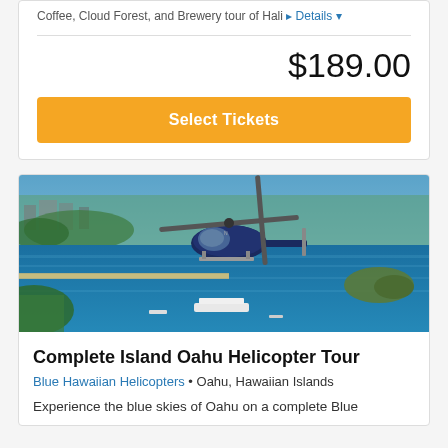Coffee, Cloud Forest, and Brewery tour of Hali ▸ Details ▾
$189.00
Select Tickets
[Figure (photo): Aerial photo of a blue helicopter flying over a harbor with a city, coastline, and a white landmark vessel visible in the water below. The landscape shows urban areas, green hills, and ocean.]
Complete Island Oahu Helicopter Tour
Blue Hawaiian Helicopters • Oahu, Hawaiian Islands
Experience the blue skies of Oahu on a complete Blue